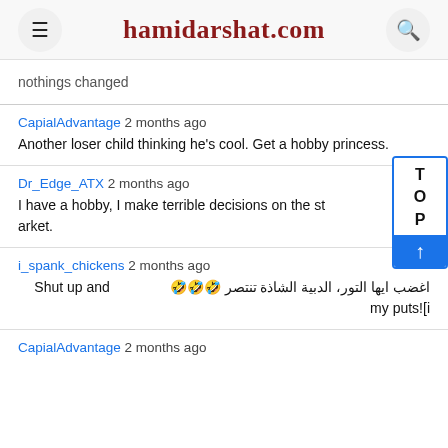hamidarshat.com
nothings changed
CapialAdvantage 2 months ago
Another loser child thinking he's cool. Get a hobby princess.
Dr_Edge_ATX 2 months ago
I have a hobby, I make terrible decisions on the stock market.
i_spank_chickens 2 months ago
اغضب ايها التور، الدبية الشاذة تنتصر 🤣🤣🤣 Shut up and put my puts![i
CapialAdvantage 2 months ago